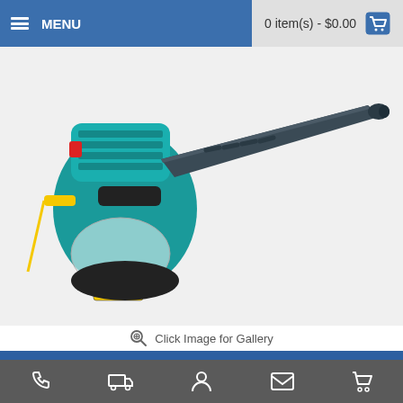MENU   0 item(s) - $0.00
[Figure (photo): Makita BHX2500 24.5cc 4-Stroke Petrol Blower product photo showing the handheld leaf blower with teal/black engine unit and long dark blower tube]
Click Image for Gallery
Makita BHX2500 - 24.5cc 4-Stroke Petrol Blower
Phone | Shipping | Account | Email | Cart